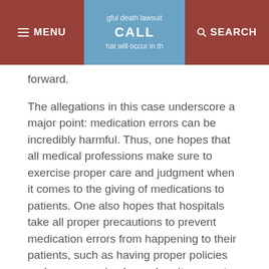MENU | gful death lawsuit CALL hat will occur in th | SEARCH
forward.
The allegations in this case underscore a major point: medication errors can be incredibly harmful. Thus, one hopes that all medical professions make sure to exercise proper care and judgment when it comes to the giving of medications to patients. One also hopes that hospitals take all proper precautions to prevent medication errors from happening to their patients, such as having proper policies and processes in place when it comes to the administration of medications.
If a person suspects that a hospital or doctor